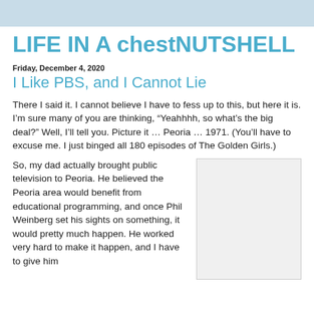LIFE IN A chestNUTSHELL
Friday, December 4, 2020
I Like PBS, and I Cannot Lie
There I said it. I cannot believe I have to fess up to this, but here it is. I'm sure many of you are thinking, “Yeahhhh, so what’s the big deal?” Well, I’ll tell you. Picture it … Peoria … 1971. (You’ll have to excuse me. I just binged all 180 episodes of The Golden Girls.)
So, my dad actually brought public television to Peoria. He believed the Peoria area would benefit from educational programming, and once Phil Weinberg set his sights on something, it would pretty much happen. He worked very hard to make it happen, and I have to give him
[Figure (photo): A photo placeholder (light gray rectangle)]